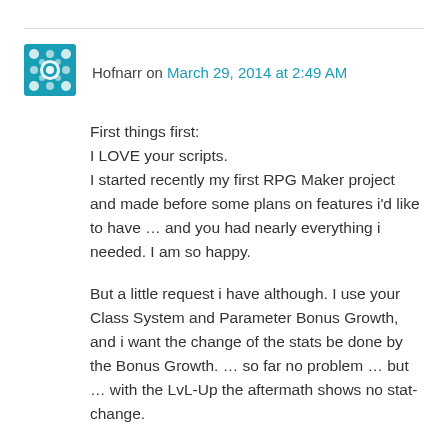Hofnarr on March 29, 2014 at 2:49 AM
First things first:
I LOVE your scripts.
I started recently my first RPG Maker project and made before some plans on features i'd like to have … and you had nearly everything i needed. I am so happy.
But a little request i have although. I use your Class System and Parameter Bonus Growth, and i want the change of the stats be done by the Bonus Growth. … so far no problem … but … with the LvL-Up the aftermath shows no stat-change.